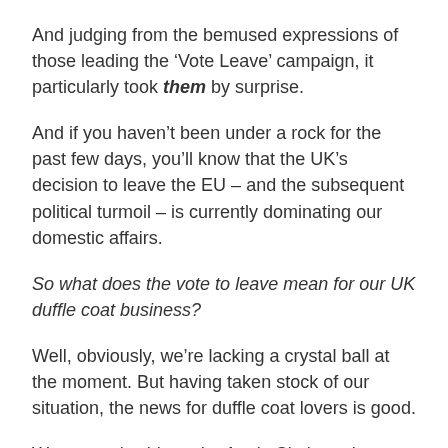And judging from the bemused expressions of those leading the ‘Vote Leave’ campaign, it particularly took them by surprise.
And if you haven’t been under a rock for the past few days, you’ll know that the UK’s decision to leave the EU – and the subsequent political turmoil – is currently dominating our domestic affairs.
So what does the vote to leave mean for our UK duffle coat business?
Well, obviously, we’re lacking a crystal ball at the moment. But having taken stock of our situation, the news for duffle coat lovers is good.
We currently ship to the Arctic Circle and Australia.
[Figure (illustration): Yellow circle badge with double checkmark icon]
To Germany and Greece.